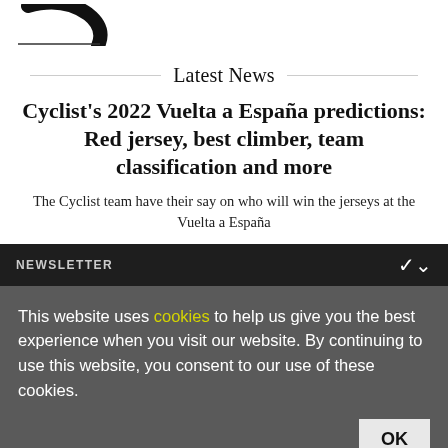[Figure (logo): Cyclist magazine logo - partial black circular logo mark with decorative letter C]
Latest News
Cyclist's 2022 Vuelta a España predictions: Red jersey, best climber, team classification and more
The Cyclist team have their say on who will win the jerseys at the Vuelta a España
NEWSLETTER
This website uses cookies to help us give you the best experience when you visit our website. By continuing to use this website, you consent to our use of these cookies.